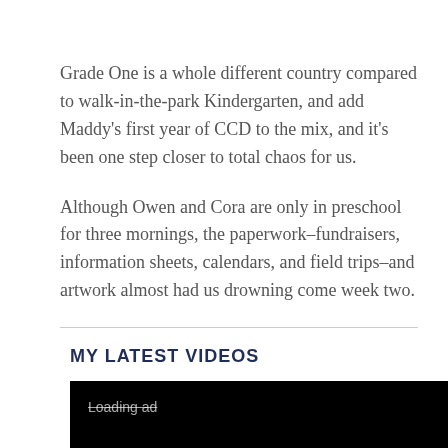Grade One is a whole different country compared to walk-in-the-park Kindergarten, and add Maddy's first year of CCD to the mix, and it's been one step closer to total chaos for us.
Although Owen and Cora are only in preschool for three mornings, the paperwork–fundraisers, information sheets, calendars, and field trips–and artwork almost had us drowning come week two.
MY LATEST VIDEOS
[Figure (screenshot): Video player loading area — black top section with 'Loading ad' text crossed out, grey bottom section]